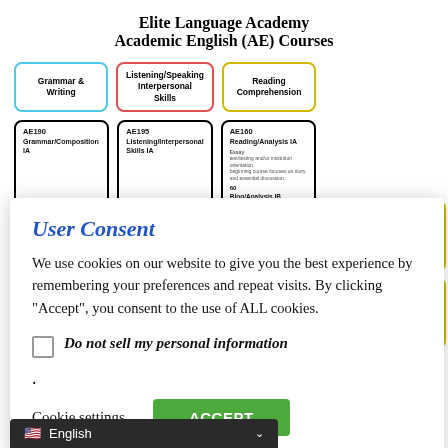Elite Language Academy
Academic English (AE) Courses
[Figure (infographic): Course category boxes: Grammar & Writing (blue border), Listening/Speaking Interpersonal Skills (red border), Reading Comprehension (yellow border), with sub-course boxes below each]
User Consent
We use cookies on our website to give you the best experience by remembering your preferences and repeat visits. By clicking “Accept”, you consent to the use of ALL cookies.
Do not sell my personal information
.
Cookie settings
ACCEPT
English